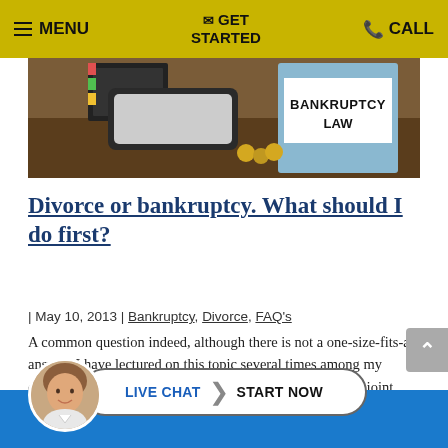≡ MENU  ✉ GET STARTED  📞 CALL
[Figure (photo): Photo of a desk with a blue binder labeled BANKRUPTCY LAW, a smartphone, a notebook, and coins on a wooden surface.]
Divorce or bankruptcy. What should I do first?
| May 10, 2013 | Bankruptcy, Divorce, FAQ's
A common question indeed, although there is not a one-size-fits-all answer. I have lectured on this topic several times among my colleagues. As a general rule, if there is cooperation and a joint goal in getting those debts